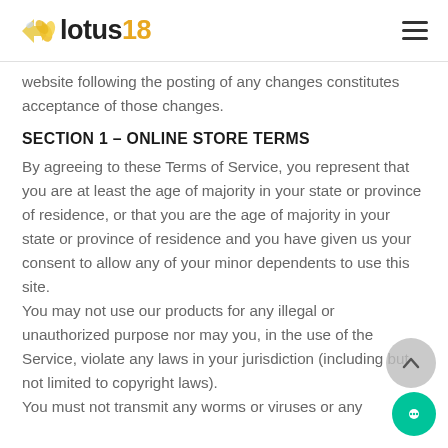lotus18
website following the posting of any changes constitutes acceptance of those changes.
SECTION 1 – ONLINE STORE TERMS
By agreeing to these Terms of Service, you represent that you are at least the age of majority in your state or province of residence, or that you are the age of majority in your state or province of residence and you have given us your consent to allow any of your minor dependents to use this site.
You may not use our products for any illegal or unauthorized purpose nor may you, in the use of the Service, violate any laws in your jurisdiction (including but not limited to copyright laws).
You must not transmit any worms or viruses or any